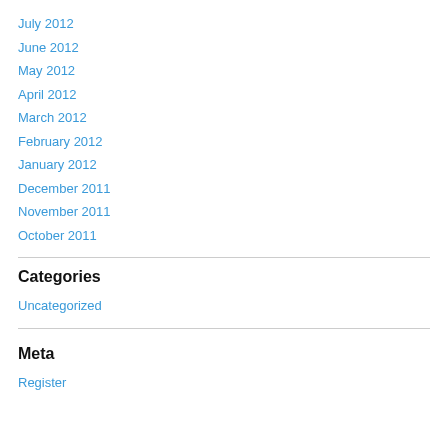July 2012
June 2012
May 2012
April 2012
March 2012
February 2012
January 2012
December 2011
November 2011
October 2011
Categories
Uncategorized
Meta
Register